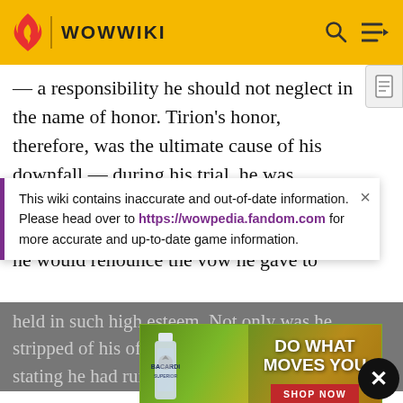WOWWIKI
— a responsibility he should not neglect in the name of honor. Tirion's honor, therefore, was the ultimate cause of his downfall — during his trial, he was offered an opportunity to be restored to good standing within the Alliance if only he would renounce the vow he gave to
This wiki contains inaccurate and out-of-date information. Please head over to https://wowpedia.fandom.com for more accurate and up-to-date game information.
held in such high esteem. Not only was he stripped of his office and ... ng and Taelan ... wife stating ... he had rui... from
[Figure (photo): Bacardi advertisement banner showing a bottle of Bacardi Superior rum amid tropical fruits with text 'DO WHAT MOVES YOU' and a red 'SHOP NOW' button]